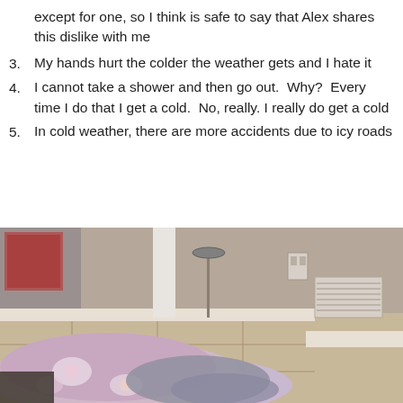(continuation) except for one, so I think is safe to say that Alex shares this dislike with me
3. My hands hurt the colder the weather gets and I hate it
4. I cannot take a shower and then go out.  Why?  Every time I do that I get a cold.  No, really. I really do get a cold
5. In cold weather, there are more accidents due to icy roads
[Figure (photo): Indoor photo showing a room with tile floor and a heap of colorful blankets/laundry in the foreground, with a wall vent, outlet, and pet bowl stand visible in the background.]